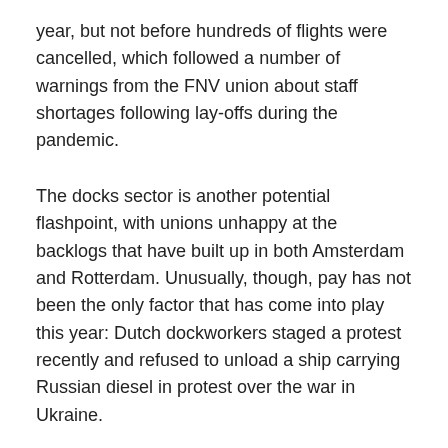year, but not before hundreds of flights were cancelled, which followed a number of warnings from the FNV union about staff shortages following lay-offs during the pandemic.
The docks sector is another potential flashpoint, with unions unhappy at the backlogs that have built up in both Amsterdam and Rotterdam. Unusually, though, pay has not been the only factor that has come into play this year: Dutch dockworkers staged a protest recently and refused to unload a ship carrying Russian diesel in protest over the war in Ukraine.
Inflation is currently running at 8.8% across the Eurozone – not far off the 9% in the UK – but, in a number of countries, it is even higher. Inflation in Belgium is currently 9.9% while, in the Netherlands, it stands at 10.2%. In the